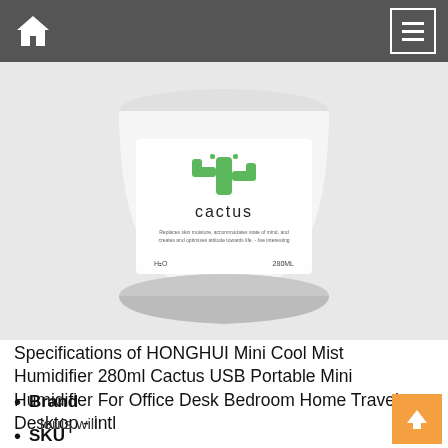Navigation bar with home icon and menu button
[Figure (photo): A cylindrical white humidifier with a cactus label. The label shows a green cactus icon, the word 'cactus', descriptive text, H2O label on the left and 280ML on the right.]
Specifications of HONGHUI Mini Cool Mist Humidifier 280ml Cactus USB Portable Mini Humidifier For Office Desk Bedroom Home Travel Desktop - intl
Brand
louis will
SKU
226794900_SGAMZ-346405882